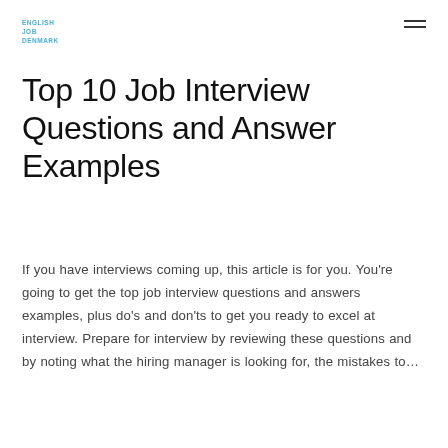ENGLISH JOB DENMARK
Top 10 Job Interview Questions and Answer Examples
If you have interviews coming up, this article is for you. You're going to get the top job interview questions and answers examples, plus do's and don'ts to get you ready to excel at interview. Prepare for interview by reviewing these questions and by noting what the hiring manager is looking for, the mistakes to…